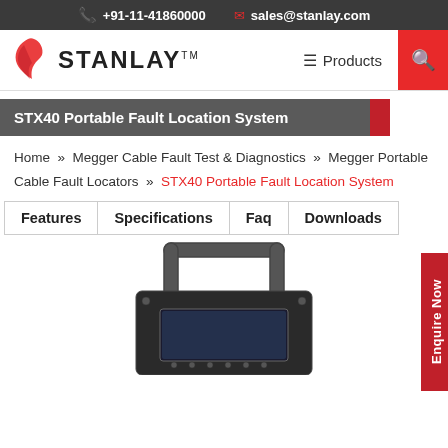+91-11-41860000  sales@stanlay.com
[Figure (logo): Stanlay logo with figure and text STANLAY TM, navigation bar with Products menu and search button]
STX40 Portable Fault Location System
Home » Megger Cable Fault Test & Diagnostics » Megger Portable Cable Fault Locators » STX40 Portable Fault Location System
Features
Specifications
Faq
Downloads
[Figure (photo): STX40 Portable Fault Location System device - black portable unit with handle and display screen visible from top]